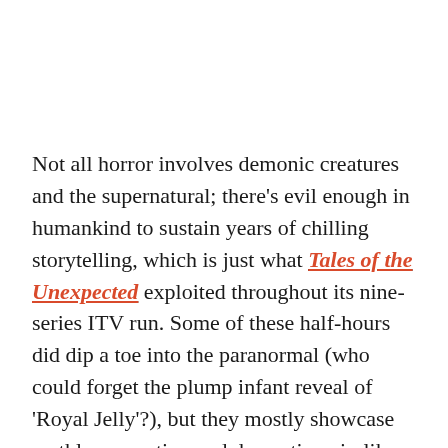Not all horror involves demonic creatures and the supernatural; there's evil enough in humankind to sustain years of chilling storytelling, which is just what Tales of the Unexpected exploited throughout its nine-series ITV run. Some of these half-hours did dip a toe into the paranormal (who could forget the plump infant reveal of 'Royal Jelly'?), but they mostly showcase earthly corruption and domestic noir, like chilling child abduction tale 'Flypaper'. With 112 episodes in total, around a third were based on stories by Roald Dahl, whose name prefixed the title in the early years and who filmed fireside introductions teasing what was to follow. The nasty misanthropy of Dahl's imagination is well-known to those who've read his children's books